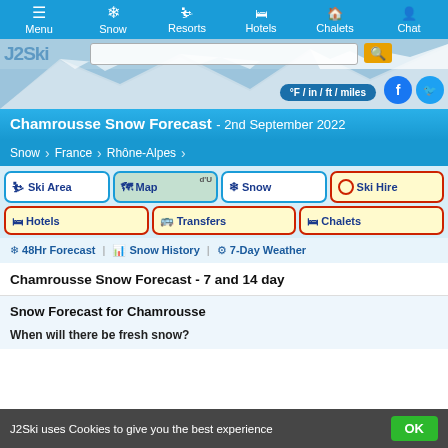Menu | Snow | Resorts | Hotels | Chalets | Chat
[Figure (screenshot): Hero image of snow-covered mountain with search bar, unit toggle button °F / in / ft / miles, Facebook and Twitter social icons]
Chamrousse Snow Forecast - 2nd September 2022
Snow > France > Rhône-Alpes
Ski Area | Map | Snow | Ski Hire | Hotels | Transfers | Chalets
❄ 48Hr Forecast | 📊 Snow History | ⚙ 7-Day Weather
Chamrousse Snow Forecast - 7 and 14 day
Snow Forecast for Chamrousse
When will there be fresh snow?
J2Ski uses Cookies to give you the best experience